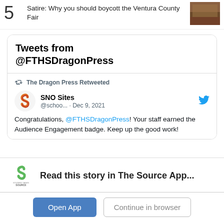5 Satire: Why you should boycott the Ventura County Fair
[Figure (photo): Thumbnail image showing aerial/crowd view of fair]
Tweets from @FTHSDragonPress
The Dragon Press Retweeted
[Figure (logo): SNO Sites logo - orange and red S shape]
SNO Sites @schoo... · Dec 9, 2021
Congratulations, @FTHSDragonPress! Your staff earned the Audience Engagement badge. Keep up the good work!
[Figure (logo): Student News Source app logo - green S shape with SOURCE text]
Read this story in The Source App...
Open App
Continue in browser